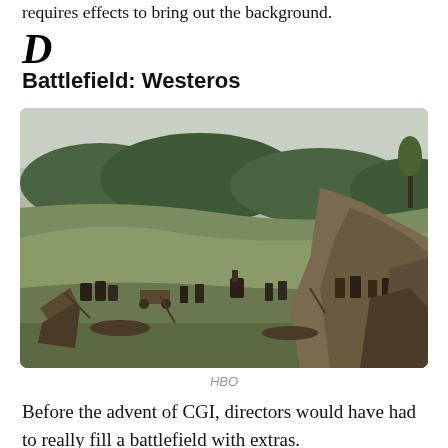requires effects to bring out the background.
Battlefield: Westeros
[Figure (photo): A battlefield scene from Game of Thrones (HBO) showing soldiers, horses, and camp equipment on a green hillside landscape with trees and overcast sky. Bodies and equipment are scattered in the foreground.]
HBO
Before the advent of CGI, directors would have had to really fill a battlefield with extras.